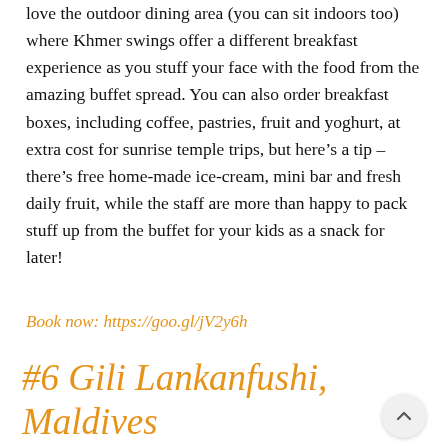love the outdoor dining area (you can sit indoors too) where Khmer swings offer a different breakfast experience as you stuff your face with the food from the amazing buffet spread. You can also order breakfast boxes, including coffee, pastries, fruit and yoghurt, at extra cost for sunrise temple trips, but here's a tip – there's free home-made ice-cream, mini bar and fresh daily fruit, while the staff are more than happy to pack stuff up from the buffet for your kids as a snack for later!
Book now: https://goo.gl/jV2y6h
#6 Gili Lankanfushi, Maldives